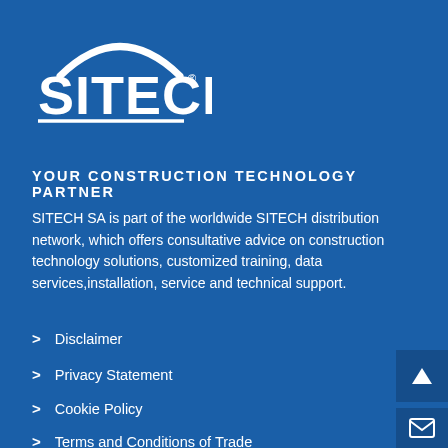[Figure (logo): SITECH logo in white on blue background with arc above the text and underline]
YOUR CONSTRUCTION TECHNOLOGY PARTNER
SITECH SA is part of the worldwide SITECH distribution network, which offers consultative advice on construction technology solutions, customized training, data services,installation, service and technical support.
Disclaimer
Privacy Statement
Cookie Policy
Terms and Conditions of Trade